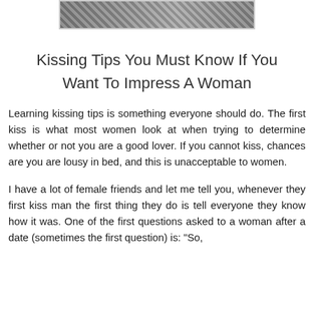[Figure (photo): Partial photo of a couple kissing, cropped at top of page]
Kissing Tips You Must Know If You Want To Impress A Woman
Learning kissing tips is something everyone should do. The first kiss is what most women look at when trying to determine whether or not you are a good lover. If you cannot kiss, chances are you are lousy in bed, and this is unacceptable to women.
I have a lot of female friends and let me tell you, whenever they first kiss man the first thing they do is tell everyone they know how it was. One of the first questions asked to a woman after a date (sometimes the first question) is: "So,